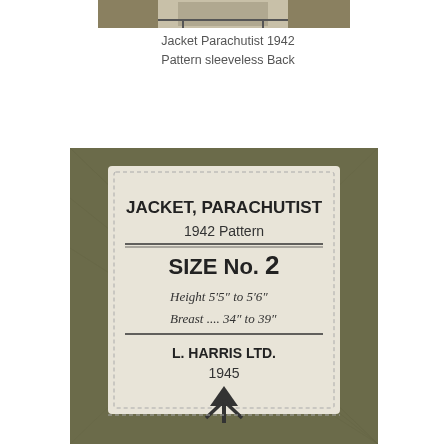[Figure (photo): Partial view of a military jacket (top edge), olive green fabric visible at top of page]
Jacket Parachutist 1942 Pattern sleeveless Back
[Figure (photo): Close-up photo of a military uniform label sewn into an olive green jacket. The label reads: JACKET, PARACHUTIST / 1942 Pattern / SIZE No. 2 / Height 5'5" to 5'6" / Breast .... 34" to 39" / L. HARRIS LTD. / 1945 / [broad arrow mark]]